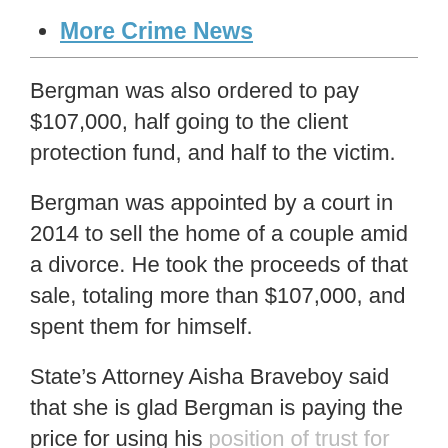More Crime News
Bergman was also ordered to pay $107,000, half going to the client protection fund, and half to the victim.
Bergman was appointed by a court in 2014 to sell the home of a couple amid a divorce. He took the proceeds of that sale, totaling more than $107,000, and spent them for himself.
State’s Attorney Aisha Braveboy said that she is glad Bergman is paying the price for using his position of trust for personal gain.